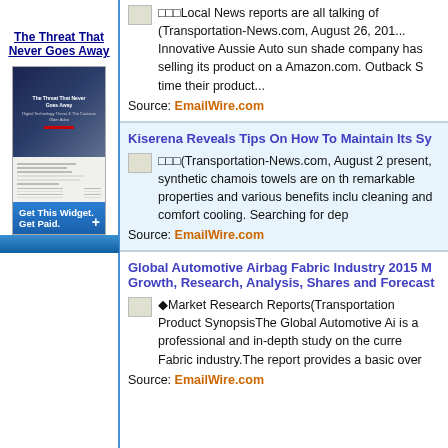The Threat That Never Goes Away
[Figure (screenshot): Widget showing book/report cover with dark blue background and document preview below, with 'Get This Widget. Get Paid.' blue button bar]
���Local News reports are all talking of (Transportation-News.com, August 26, 2015 Innovative Aussie Auto sun shade company has selling its product on a Amazon.com. Outback S time their product...
Source: EmailWire.com
Kiserena Reveals Tips On How To Maintain Its Sy
���(Transportation-News.com, August 2 present, synthetic chamois towels are on th remarkable properties and various benefits inclu cleaning and comfort cooling. Searching for dep
Source: EmailWire.com
Global Automotive Airbag Fabric Industry 2015 M Growth, Research, Analysis, Shares and Forecast
◆Market Research Reports(Transportation Product SynopsisThe Global Automotive Ai is a professional and in-depth study on the curre Fabric industry.The report provides a basic over
Source: EmailWire.com